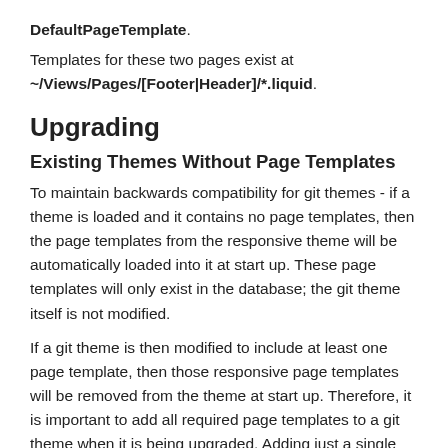DefaultPageTemplate.
Templates for these two pages exist at ~/Views/Pages/[Footer|Header]/*.liquid.
Upgrading
Existing Themes Without Page Templates
To maintain backwards compatibility for git themes - if a theme is loaded and it contains no page templates, then the page templates from the responsive theme will be automatically loaded into it at start up. These page templates will only exist in the database; the git theme itself is not modified.
If a git theme is then modified to include at least one page template, then those responsive page templates will be removed from the theme at start up. Therefore, it is important to add all required page templates to a git theme when it is being upgraded. Adding just a single